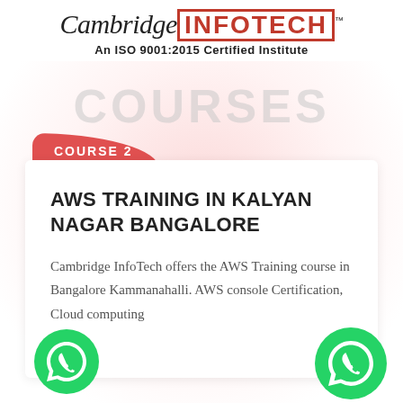[Figure (logo): Cambridge InfoTech logo with TM mark and ISO 9001:2015 certification text]
COURSES
COURSE 2
AWS TRAINING IN KALYAN NAGAR BANGALORE
Cambridge InfoTech offers the AWS Training course in Bangalore Kammanahalli. AWS console Certification, Cloud computing
[Figure (illustration): WhatsApp green phone button icon - bottom left]
[Figure (illustration): WhatsApp green phone button icon - bottom right]